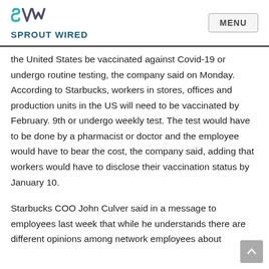SPROUT WIRED | MENU
the United States be vaccinated against Covid-19 or undergo routine testing, the company said on Monday. According to Starbucks, workers in stores, offices and production units in the US will need to be vaccinated by February. 9th or undergo weekly test. The test would have to be done by a pharmacist or doctor and the employee would have to bear the cost, the company said, adding that workers would have to disclose their vaccination status by January 10.
Starbucks COO John Culver said in a message to employees last week that while he understands there are different opinions among network employees about